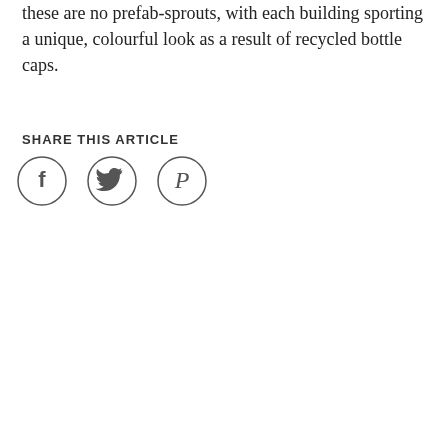these are no prefab-sprouts, with each building sporting a unique, colourful look as a result of recycled bottle caps.
SHARE THIS ARTICLE
[Figure (other): Three social media share icons in circles: Facebook, Twitter, Pinterest]